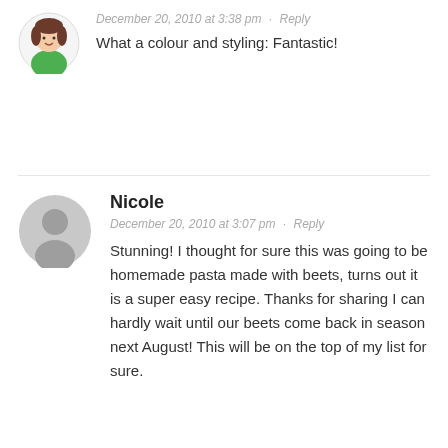[Figure (illustration): Cartoon avatar of a person with brown hair and green top, partially visible at top left]
December 20, 2010 at 3:38 pm · Reply
What a colour and styling: Fantastic!
[Figure (illustration): Gray default user avatar icon showing silhouette of person]
Nicole
December 20, 2010 at 3:07 pm · Reply
Stunning! I thought for sure this was going to be homemade pasta made with beets, turns out it is a super easy recipe. Thanks for sharing I can hardly wait until our beets come back in season next August! This will be on the top of my list for sure.